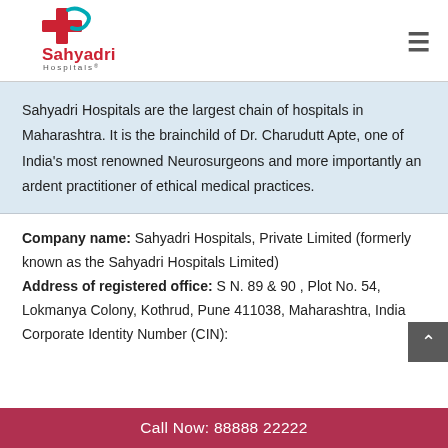[Figure (logo): Sahyadri Hospitals logo with red cross and teal accent, red text 'Sahyadri' and grey 'Hospitals']
Sahyadri Hospitals are the largest chain of hospitals in Maharashtra. It is the brainchild of Dr. Charudutt Apte, one of India's most renowned Neurosurgeons and more importantly an ardent practitioner of ethical medical practices.
Company name: Sahyadri Hospitals, Private Limited (formerly known as the Sahyadri Hospitals Limited) Address of registered office: S N. 89 & 90 , Plot No. 54, Lokmanya Colony, Kothrud, Pune 411038, Maharashtra, India Corporate Identity Number (CIN):
Call Now: 88888 22222